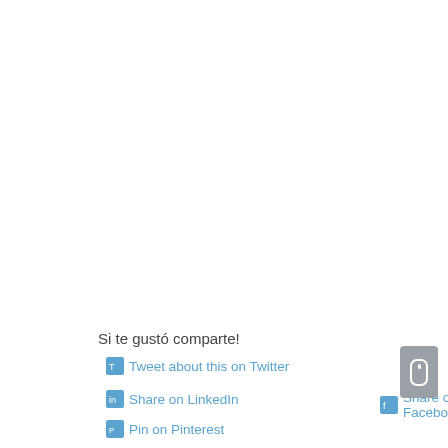Si te gustó comparte!
Tweet about this on Twitter
Share on LinkedIn
Share on Facebook
Pin on Pinterest